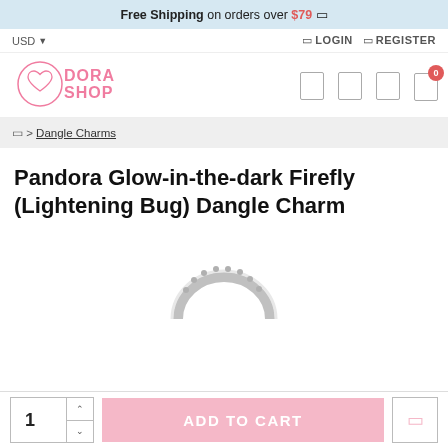Free Shipping on orders over $79
USD   LOGIN  REGISTER
[Figure (logo): Dora Shop logo — pink circle with heart and text DORA SHOP in pink]
> Dangle Charms
Pandora Glow-in-the-dark Firefly (Lightening Bug) Dangle Charm
[Figure (photo): Partial view of a silver Pandora dangle charm — circular ring with beaded/studded detail, shown from below]
1  ADD TO CART